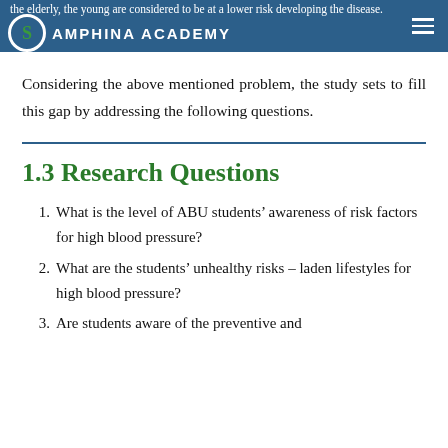the elderly, the young are considered to be at a lower risk developing the disease. | AMPHINA ACADEMY
Considering the above mentioned problem, the study sets to fill this gap by addressing the following questions.
1.3 Research Questions
1. What is the level of ABU students’ awareness of risk factors for high blood pressure?
2. What are the students’ unhealthy risks – laden lifestyles for high blood pressure?
3. Are students aware of the preventive and